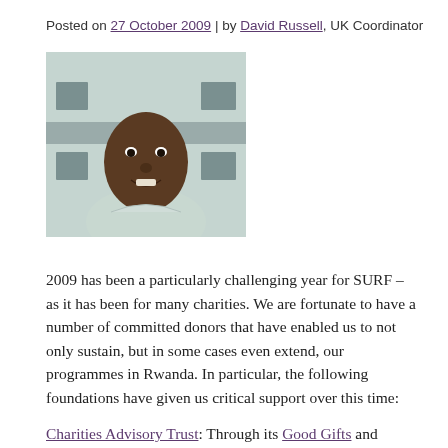Posted on 27 October 2009 | by David Russell, UK Coordinator
[Figure (photo): Portrait photo of a man, appearing to be outdoors near a building with windows in the background]
2009 has been a particularly challenging year for SURF – as it has been for many charities. We are fortunate to have a number of committed donors that have enabled us to not only sustain, but in some cases even extend, our programmes in Rwanda. In particular, the following foundations have given us critical support over this time:
Charities Advisory Trust: Through its Good Gifts and